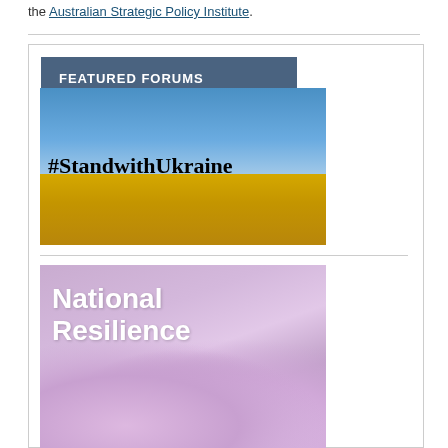the Australian Strategic Policy Institute.
FEATURED FORUMS
[Figure (photo): Image with blue sky and yellow wheat field with text '#StandwithUkraine' in bold black serif font overlaid]
[Figure (photo): Image with pink/purple crocus flowers with text 'National Resilience' in bold white sans-serif font overlaid]